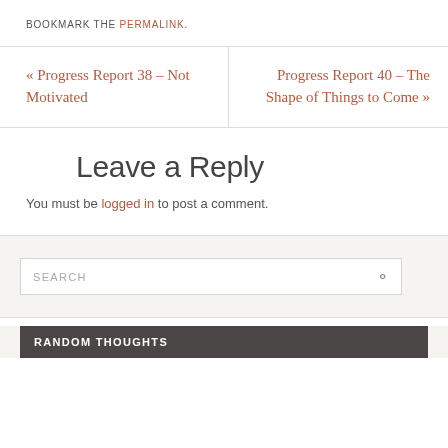BOOKMARK THE PERMALINK.
« Progress Report 38 – Not Motivated
Progress Report 40 – The Shape of Things to Come »
Leave a Reply
You must be logged in to post a comment.
SEARCH
RANDOM THOUGHTS